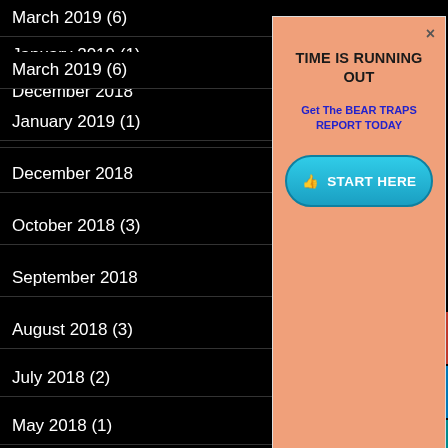March 2019 (6)
January 2019 (1)
December 2018
October 2018 (3)
September 2018
August 2018 (3)
July 2018 (2)
May 2018 (1)
April 2018 (4)
March 2018 (3)
February 2018 (4)
January 2018 (2)
[Figure (screenshot): Popup overlay with salmon/orange background showing promotional message 'TIME IS RUNNING OUT', subtitle 'Get The BEAR TRAPS REPORT TODAY' in blue bold text, a teal 'START HERE' button, and a close X button in upper right.]